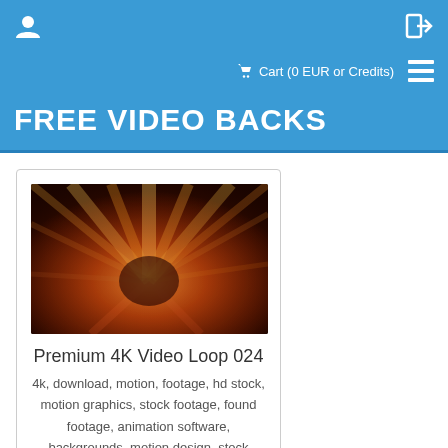user icon / login icon
Cart (0 EUR or Credits)
FREE VIDEO BACKS
[Figure (photo): Radial burst of warm red, orange and gold light rays on dark background — abstract motion background thumbnail for Premium 4K Video Loop 024]
Premium 4K Video Loop 024
4k, download, motion, footage, hd stock, motion graphics, stock footage, found footage, animation software, backgrounds, motion design, stock video, stock footage, motion backgrounds